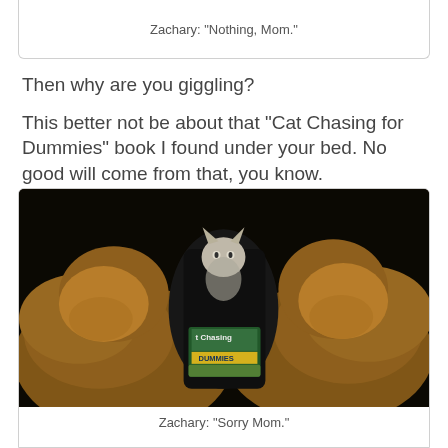Zachary: "Nothing, Mom."
Then why are you giggling?
This better not be about that "Cat Chasing for Dummies" book I found under your bed. No good will come from that, you know.
[Figure (photo): Two golden retrievers and a cat reading a 'Cat Chasing for Dummies' book on a dark background]
Zachary: "Sorry Mom."